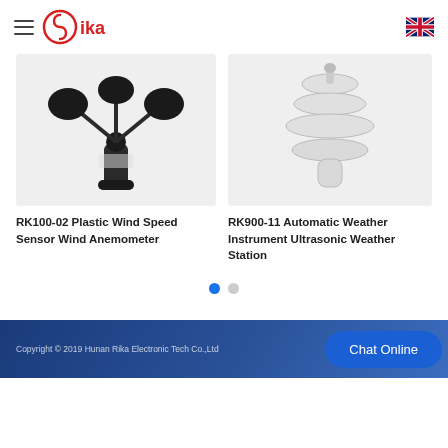Rika Electronic Tech - navigation header with logo and UK flag
[Figure (photo): RK100-02 Plastic Wind Speed Sensor Wind Anemometer - black three-cup anemometer on white/grey background]
RK100-02 Plastic Wind Speed Sensor Wind Anemometer
[Figure (photo): RK900-11 Automatic Weather Instrument Ultrasonic Weather Station - white stacked-plate ultrasonic weather station on grey background]
RK900-11 Automatic Weather Instrument Ultrasonic Weather Station
Copyright © 2019 Hunan Rika Electronic Tech Co.,Ltd
Chat Online